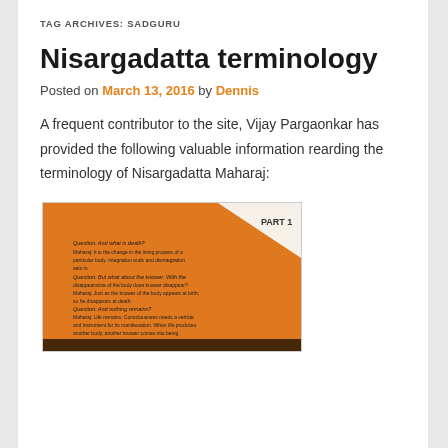TAG ARCHIVES: SADGURU
Nisargadatta terminology
Posted on March 13, 2016 by Dennis
A frequent contributor to the site, Vijay Pargaonkar has provided the following valuable information rearding the terminology of Nisargadatta Maharaj:
[Figure (photo): Orange book cover showing text about death, consciousness, and knowledge — a page from an I Am That or related Nisargadatta Maharaj publication. Text includes Q&A dialogue with labels Question and Maharaj. 'PART 1' is visible in upper right corner.]